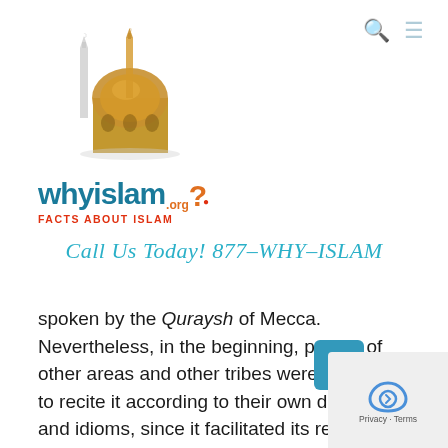[Figure (logo): WhyIslam.org logo featuring a mosque silhouette with dome and minaret above the brand name 'whyislam' in teal with an orange question mark and 'FACTS ABOUT ISLAM' subtitle in red]
Call Us Today! 877-WHY-ISLAM
spoken by the Quraysh of Mecca. Nevertheless, in the beginning, people of other areas and other tribes were permitted to recite it according to their own dialects and idioms, since it facilitated its recitation without affecting its substantive meaning. In the course of time and in the wake of the conquest of a sizeable part of the world